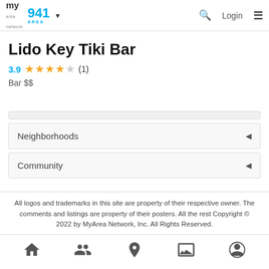my area network | 941 AREA | Login
Lido Key Tiki Bar
3.9 ★★★★☆ (1)
Bar $$
Neighborhoods
Community
All logos and trademarks in this site are property of their respective owner. The comments and listings are property of their posters. All the rest Copyright © 2022 by MyArea Network, Inc. All Rights Reserved.
Home | Community | Location | Gallery | Profile